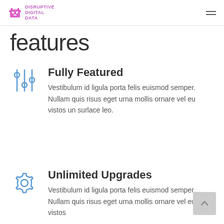Disruptive Digital Data
features
Fully Featured
Vestibulum id ligula porta felis euismod semper. Nullam quis risus eget urna mollis ornare vel eu vistos un surlace leo.
Unlimited Upgrades
Vestibulum id ligula porta felis euismod semper. Nullam quis risus eget urna mollis ornare vel eu vistos